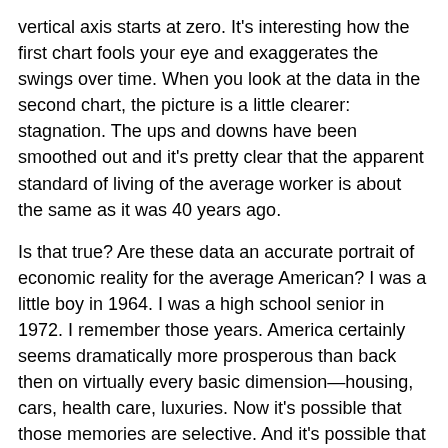vertical axis starts at zero. It's interesting how the first chart fools your eye and exaggerates the swings over time. When you look at the data in the second chart, the picture is a little clearer: stagnation. The ups and downs have been smoothed out and it's pretty clear that the apparent standard of living of the average worker is about the same as it was 40 years ago.
Is that true? Are these data an accurate portrait of economic reality for the average American? I was a little boy in 1964. I was a high school senior in 1972. I remember those years. America certainly seems dramatically more prosperous than back then on virtually every basic dimension—housing, cars, health care, luxuries. Now it's possible that those memories are selective. And it's possible that my observations of the world around me today are selective—selective geographically for example. I live and teach in the affluent Washington, DC area. You have to be careful not to draw conclusions based on a biased sample. But still. Is it really plausible to conclude that the average worker has been treading water for 40 years in a time that real GDP and real per-capita GDP are up dramatically over